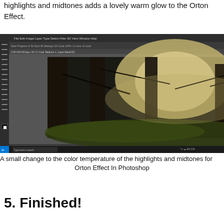highlights and midtones adds a lovely warm glow to the Orton Effect.
[Figure (screenshot): Adobe Photoshop screenshot showing a forest scene with misty light through trees and moss-covered ground. The right panel shows Color Balance adjustment layer properties with sliders for Cyan-Red, Magenta-Green, and Yellow-Blue. The Layers panel is visible in the lower right. Windows taskbar visible at bottom.]
A small change to the color temperature of the highlights and midtones for Orton Effect In Photoshop
5. Finished!